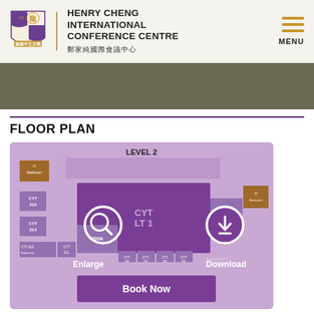[Figure (logo): Henry Cheng International Conference Centre logo with university crest shield and Chinese text]
FLOOR PLAN
[Figure (map): Floor plan map of Level 2 of Henry Cheng International Conference Centre showing rooms CYT 215, 214, 213, 211, 209A, 208, 207, 206, 205, 202, LT1, with Enlarge and Download buttons and a Book Now button overlay]